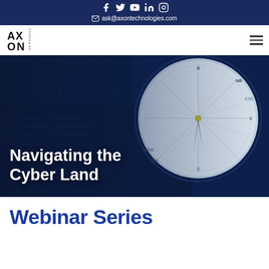ask@axontechnologies.com
[Figure (logo): Axon Technologies logo with AX ON text and vertical 'technologies' label]
[Figure (photo): Compass on a dark blue keyboard background. Text overlay reads: Navigating the Cyber Land]
Navigating the Cyber Land
Webinar Series